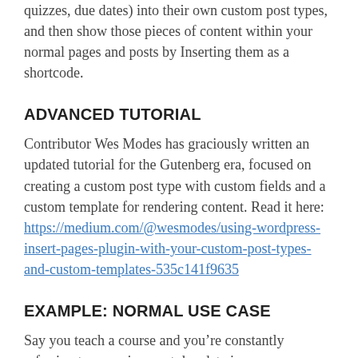quizzes, due dates) into their own custom post types, and then show those pieces of content within your normal pages and posts by Inserting them as a shortcode.
ADVANCED TUTORIAL
Contributor Wes Modes has graciously written an updated tutorial for the Gutenberg era, focused on creating a custom post type with custom fields and a custom template for rendering content. Read it here: https://medium.com/@wesmodes/using-wordpress-insert-pages-plugin-with-your-custom-post-types-and-custom-templates-535c141f9635
EXAMPLE: NORMAL USE CASE
Say you teach a course and you’re constantly referring to an assignment due date in your course